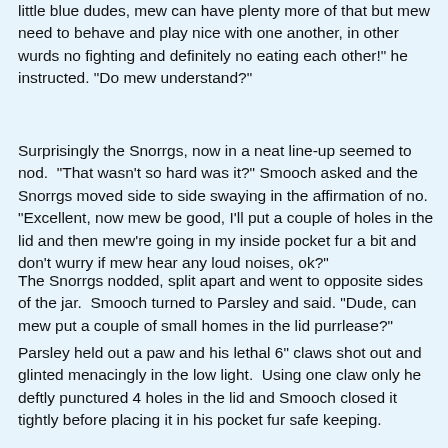little blue dudes, mew can have plenty more of that but mew need to behave and play nice with one another, in other wurds no fighting and definitely no eating each other!" he instructed. "Do mew understand?"
Surprisingly the Snorrgs, now in a neat line-up seemed to nod.  "That wasn't so hard was it?" Smooch asked and the Snorrgs moved side to side swaying in the affirmation of no. "Excellent, now mew be good, I'll put a couple of holes in the lid and then mew're going in my inside pocket fur a bit and don't wurry if mew hear any loud noises, ok?"
The Snorrgs nodded, split apart and went to opposite sides of the jar.  Smooch turned to Parsley and said. "Dude, can mew put a couple of small homes in the lid purrlease?"
Parsley held out a paw and his lethal 6" claws shot out and glinted menacingly in the low light.  Using one claw only he deftly punctured 4 holes in the lid and Smooch closed it tightly before placing it in his pocket fur safe keeping.
I was looking at the map as it had changed since the last shift in the area and the guide to...